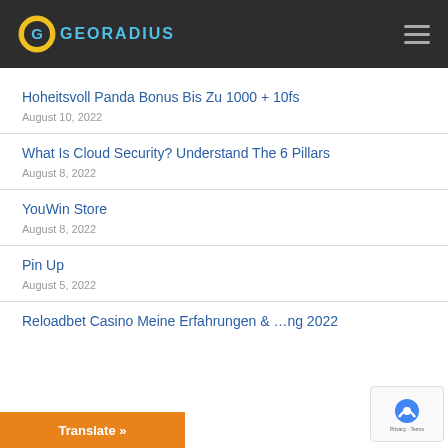GEORADIUS
Hoheitsvoll Panda Bonus Bis Zu 1000 + 10fs
August 10, 2022
What Is Cloud Security? Understand The 6 Pillars
August 8, 2022
YouWin Store
August 8, 2022
Pin Up
August 5, 2022
Reloadbet Casino Meine Erfahrungen & ...ng 2022